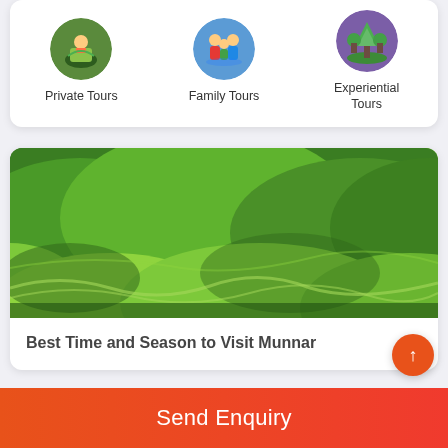[Figure (illustration): Three circular tour category icons with labels: Private Tours, Family Tours, Experiential Tours]
[Figure (photo): Wide panoramic photo of green tea estate/plantation hills in Munnar]
Best Time and Season to Visit Munnar
35 Cottages in Munnar {{year}} | Book Now & Get Upto 40% Off
Send Enquiry